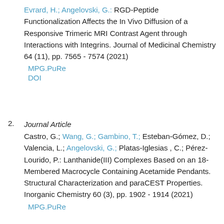Evrard, H.; Angelovski, G.: RGD-Peptide Functionalization Affects the In Vivo Diffusion of a Responsive Trimeric MRI Contrast Agent through Interactions with Integrins. Journal of Medicinal Chemistry 64 (11), pp. 7565 - 7574 (2021)
MPG.PuRe
DOI
2.
Journal Article
Castro, G.; Wang, G.; Gambino, T.; Esteban-Gómez, D.; Valencia, L.; Angelovski, G.; Platas-Iglesias , C.; Pérez-Lourido, P.: Lanthanide(III) Complexes Based on an 18-Membered Macrocycle Containing Acetamide Pendants. Structural Characterization and paraCEST Properties. Inorganic Chemistry 60 (3), pp. 1902 - 1914 (2021)
MPG.PuRe